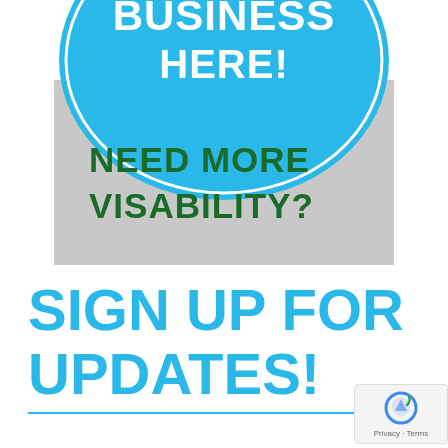[Figure (illustration): Advertising graphic with a blue circle/ellipse at top containing bold white text 'BUSINESS HERE!' and a gray rectangular background area below with bold dark green text 'NEED MORE VISABILITY?']
SIGN UP FOR UPDATES!